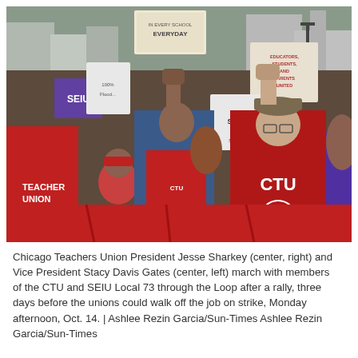[Figure (photo): Chicago Teachers Union President Jesse Sharkey wearing a red CTU hoodie and a cap, raising his fist, marching alongside Vice President Stacy Davis Gates (wearing a CTU t-shirt and denim jacket) and other members of the CTU and SEIU Local 73 through the Loop. Protesters carry signs reading 'ON STRIKE', 'BETTER SCHOOLS', 'EDUCATORS STUDENTS PARENTS UNITED', 'SEIU', and others. A large red banner is visible in the foreground.]
Chicago Teachers Union President Jesse Sharkey (center, right) and Vice President Stacy Davis Gates (center, left) march with members of the CTU and SEIU Local 73 through the Loop after a rally, three days before the unions could walk off the job on strike, Monday afternoon, Oct. 14. | Ashlee Rezin Garcia/Sun-Times Ashlee Rezin Garcia/Sun-Times